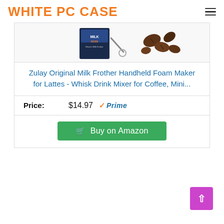WHITE PC CASE
[Figure (photo): Partial product photo showing a MilkBoss electric milk frother box and coffee beans]
Zulay Original Milk Frother Handheld Foam Maker for Lattes - Whisk Drink Mixer for Coffee, Mini...
Price: $14.97 Prime
Buy on Amazon